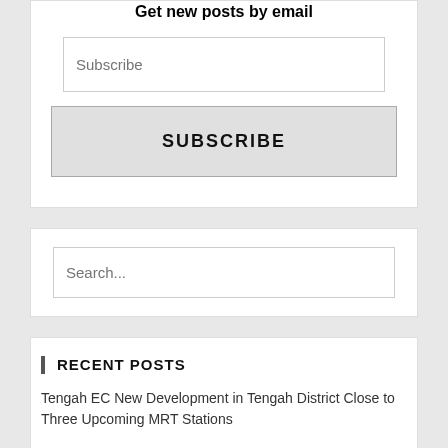Get new posts by email
Subscribe
SUBSCRIBE
Search...
RECENT POSTS
Tengah EC New Development in Tengah District Close to Three Upcoming MRT Stations